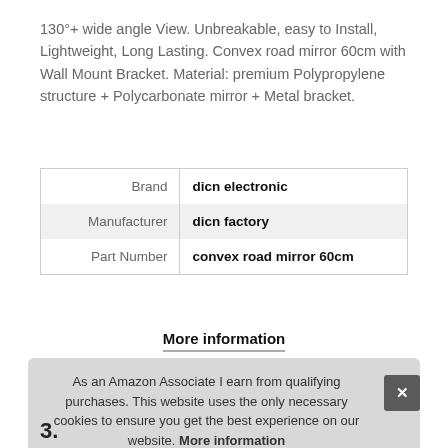130°+ wide angle View. Unbreakable, easy to Install, Lightweight, Long Lasting. Convex road mirror 60cm with Wall Mount Bracket. Material: premium Polypropylene structure + Polycarbonate mirror + Metal bracket.
| Brand | dicn electronic |
| Manufacturer | dicn factory |
| Part Number | convex road mirror 60cm |
More information
As an Amazon Associate I earn from qualifying purchases. This website uses the only necessary cookies to ensure you get the best experience on our website. More information
3.